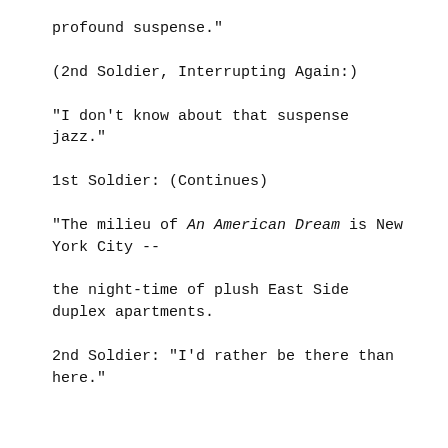profound suspense."
(2nd Soldier, Interrupting Again:)
"I don't know about that suspense jazz."
1st Soldier: (Continues)
"The milieu of An American Dream is New York City --
the night-time of plush East Side duplex apartments.
2nd Soldier: "I'd rather be there than here."